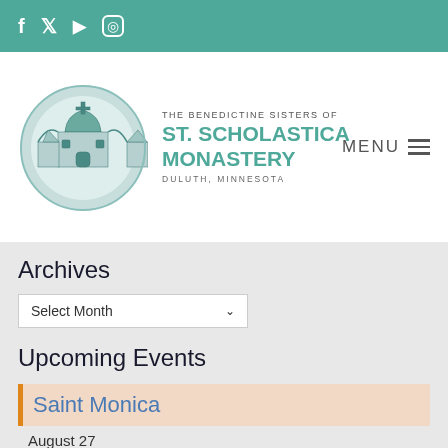Social icons: Facebook, Twitter, YouTube, Instagram
[Figure (logo): The Benedictine Sisters of St. Scholastica Monastery, Duluth, Minnesota logo with circular monastery illustration]
Archives
Select Month
Upcoming Events
Saint Monica — August 27
Saint Augustine of Hippo — August 28